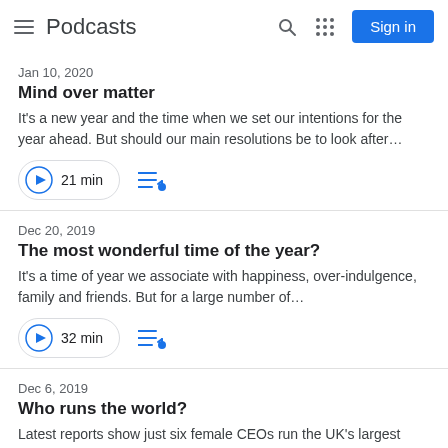Podcasts
Jan 10, 2020
Mind over matter
It's a new year and the time when we set our intentions for the year ahead. But should our main resolutions be to look after…
21 min
Dec 20, 2019
The most wonderful time of the year?
It's a time of year we associate with happiness, over-indulgence, family and friends. But for a large number of…
32 min
Dec 6, 2019
Who runs the world?
Latest reports show just six female CEOs run the UK's largest companies but when it comes to Liverpool's cultural…